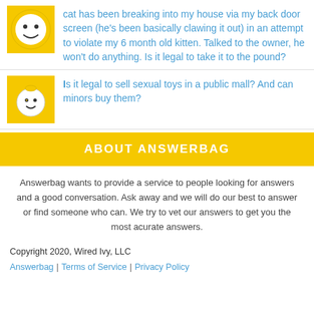cat has been breaking into my house via my back door screen (he's been basically clawing it out) in an attempt to violate my 6 month old kitten. Talked to the owner, he won't do anything. Is it legal to take it to the pound?
Is it legal to sell sexual toys in a public mall? And can minors buy them?
ABOUT ANSWERBAG
Answerbag wants to provide a service to people looking for answers and a good conversation. Ask away and we will do our best to answer or find someone who can. We try to vet our answers to get you the most acurate answers.
Copyright 2020, Wired Ivy, LLC
Answerbag | Terms of Service | Privacy Policy